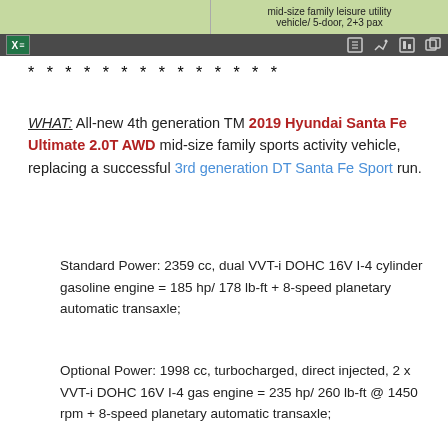layout configuration / mid-size family leisure utility vehicle/ 5-door, 2+3 pax
* * * * * * * * * * * * * *
WHAT: All-new 4th generation TM 2019 Hyundai Santa Fe Ultimate 2.0T AWD mid-size family sports activity vehicle, replacing a successful 3rd generation DT Santa Fe Sport run.
Standard Power: 2359 cc, dual VVT-i DOHC 16V I-4 cylinder gasoline engine = 185 hp/ 178 lb-ft + 8-speed planetary automatic transaxle;
Optional Power: 1998 cc, turbocharged, direct injected, 2 x VVT-i DOHC 16V I-4 gas engine = 235 hp/ 260 lb-ft @ 1450 rpm + 8-speed planetary automatic transaxle;